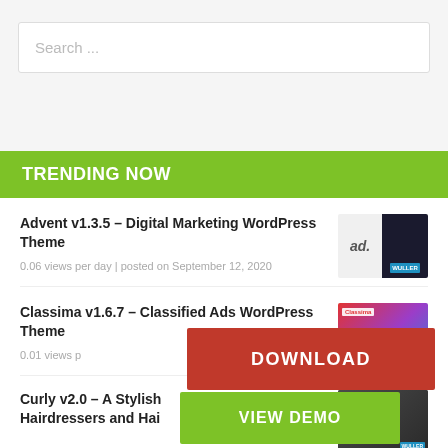Search ...
TRENDING NOW
Advent v1.3.5 – Digital Marketing WordPress Theme
0.06 views per day | posted on September 12, 2020
[Figure (screenshot): Advent WordPress theme thumbnail showing ad. logo and dark layout]
Classima v1.6.7 – Classified Ads WordPress Theme
0.01 views p...
[Figure (screenshot): Classima WordPress theme thumbnail with colorful classified ads layout]
Curly v2.0 – A Stylish ... Hairdressers and Hai...
[Figure (screenshot): Curly WordPress theme thumbnail showing hair salon dark layout]
DOWNLOAD
VIEW DEMO